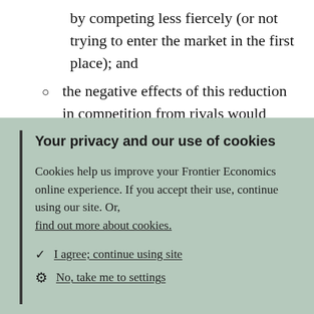by competing less fiercely (or not trying to enter the market in the first place); and
the negative effects of this reduction in competition from rivals would outweigh the direct benefits to consumers of the investment in
Your privacy and our use of cookies
Cookies help us improve your Frontier Economics online experience. If you accept their use, continue using our site. Or, find out more about cookies.
✓ I agree; continue using site
⚙ No, take me to settings